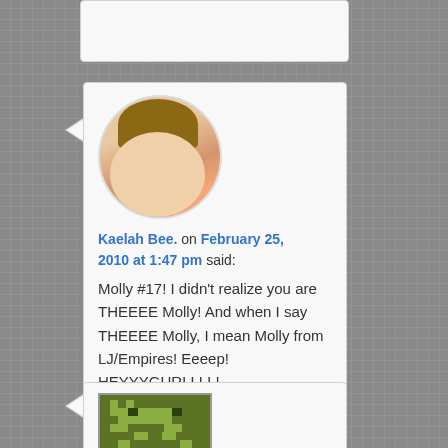[Figure (screenshot): Blog comment thread showing user avatars and comment text on a grey patterned background]
Kaelah Bee. on February 25, 2010 at 1:47 pm said: Molly #17! I didn't realize you are THEEEE Molly! And when I say THEEEE Molly, I mean Molly from LJ/Empires! Eeeep! HEYYYGURLLLL!